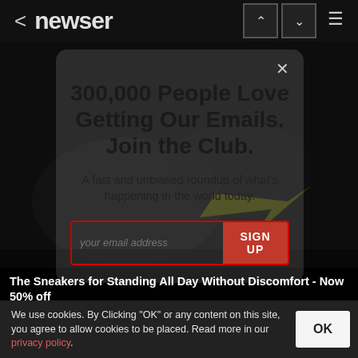< newser
[Figure (screenshot): Dark background showing sneakers/shoes, dimmed by modal overlay]
300,000 People Love Getting Our Emails. Join the Club.
A fast and unbiased roundup of what's happening in the world today.
your email address  SIGN UP
The Sneakers for Standing All Day Without Discomfort - Now 50% off
Sursell
We use cookies. By Clicking "OK" or any content on this site, you agree to allow cookies to be placed. Read more in our privacy policy.